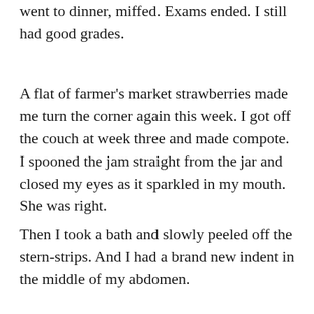went to dinner, miffed. Exams ended. I still had good grades.
A flat of farmer’s market strawberries made me turn the corner again this week. I got off the couch at week three and made compote. I spooned the jam straight from the jar and closed my eyes as it sparkled in my mouth. She was right.
Then I took a bath and slowly peeled off the stern-strips. And I had a brand new indent in the middle of my abdomen.